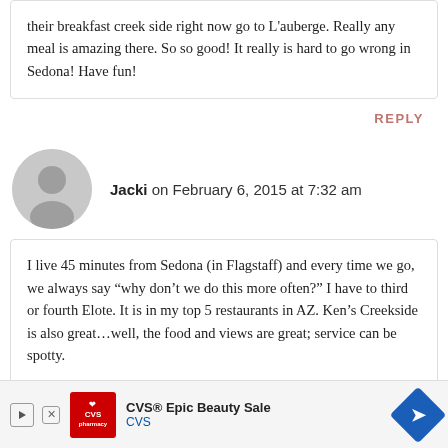their breakfast creek side right now go to L'auberge. Really any meal is amazing there. So so good! It really is hard to go wrong in Sedona! Have fun!
REPLY
[Figure (illustration): Generic user avatar icon, circular gray silhouette]
Jacki on February 6, 2015 at 7:32 am
I live 45 minutes from Sedona (in Flagstaff) and every time we go, we always say “why don’t we do this more often?” I have to third or fourth Elote. It is in my top 5 restaurants in AZ. Ken’s Creekside is also great…well, the food and views are great; service can be spotty.
[Figure (illustration): CVS Epic Beauty Sale advertisement banner]